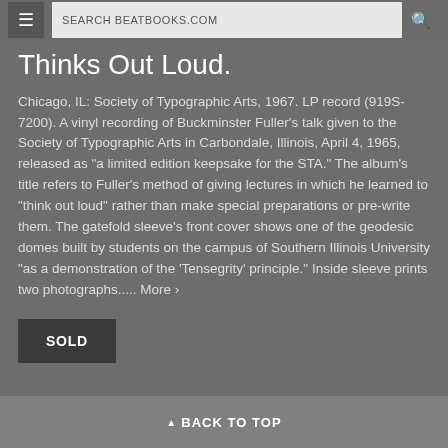SEARCH BEATBOOKS.COM
Thinks Out Loud.
Chicago, IL: Society of Typographic Arts, 1967. LP record (919S-7200). A vinyl recording of Buckminster Fuller's talk given to the Society of Typographic Arts in Carbondale, Illinois, April 4, 1965, released as "a limited edition keepsake for the STA." The album's title refers to Fuller's method of giving lectures in which he learned to "think out loud" rather than make special preparations or pre-write them. The gatefold sleeve's front cover shows one of the geodesic domes built by students on the campus of Southern Illinois University "as a demonstration of the 'Tensegrity' principle." Inside sleeve prints two photographs..... More ›
SOLD
▲ BACK TO TOP